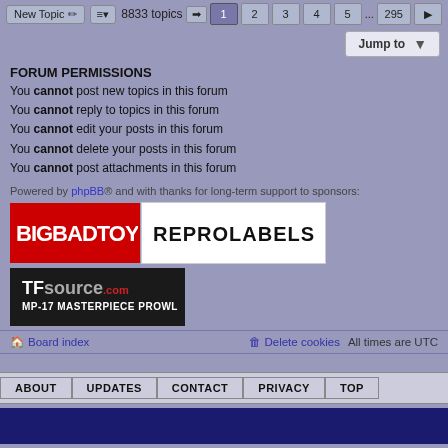New Topic  |  8833 topics  1 2 3 4 5 ... 295
Jump to
FORUM PERMISSIONS
You cannot post new topics in this forum
You cannot reply to topics in this forum
You cannot edit your posts in this forum
You cannot delete your posts in this forum
You cannot post attachments in this forum
Powered by phpBB® and with thanks for long-term support to sponsors:
[Figure (logo): BigBadToyStore red logo banner]
[Figure (logo): REPROLABELS white logo banner]
[Figure (logo): TFsource.com MP-17 Masterpiece Prowl dark banner]
Board index   Delete cookies   All times are UTC
ABOUT  UPDATES  CONTACT  PRIVACY  TOP